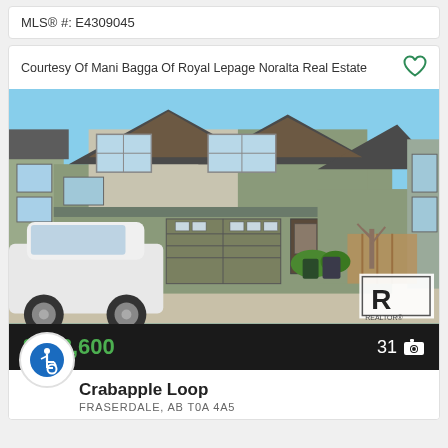MLS® #: E4309045
Courtesy Of Mani Bagga Of Royal Lepage Noralta Real Estate
[Figure (photo): Exterior photo of a two-storey duplex/semi-detached home with dark grey and beige siding, triple garage doors, white SUV parked in driveway, blue sky background, REALTOR® logo watermark in bottom right corner.]
$418,600
31
Crabapple Loop
FRASERDALE, AB T0A 4A5